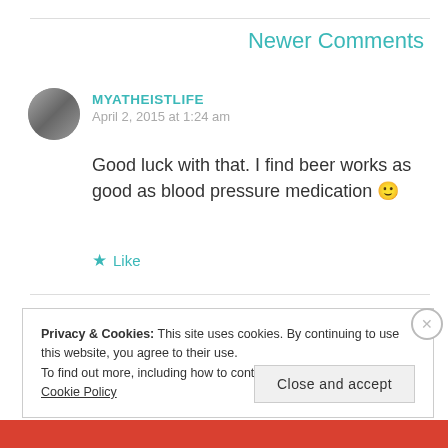Newer Comments
[Figure (photo): Circular avatar photo of user MYATHEISTLIFE]
MYATHEISTLIFE
April 2, 2015 at 1:24 am
Good luck with that. I find beer works as good as blood pressure medication 🙂
★ Like
Privacy & Cookies: This site uses cookies. By continuing to use this website, you agree to their use.
To find out more, including how to control cookies, see here: Cookie Policy
Close and accept